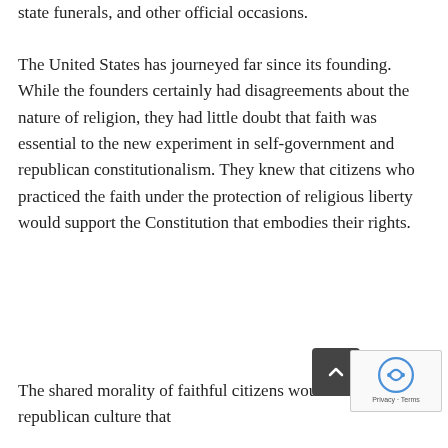state funerals, and other official occasions.
The United States has journeyed far since its founding. While the founders certainly had disagreements about the nature of religion, they had little doubt that faith was essential to the new experiment in self-government and republican constitutionalism. They knew that citizens who practiced the faith under the protection of religious liberty would support the Constitution that embodies their rights.
The shared morality of faithful citizens would sustain a republican culture that